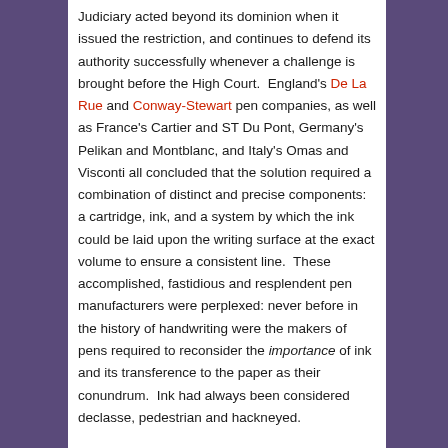Judiciary acted beyond its dominion when it issued the restriction, and continues to defend its authority successfully whenever a challenge is brought before the High Court.  England's De La Rue and Conway-Stewart pen companies, as well as France's Cartier and ST Du Pont, Germany's Pelikan and Montblanc, and Italy's Omas and Visconti all concluded that the solution required a combination of distinct and precise components: a cartridge, ink, and a system by which the ink could be laid upon the writing surface at the exact volume to ensure a consistent line.  These accomplished, fastidious and resplendent pen manufacturers were perplexed: never before in the history of handwriting were the makers of pens required to reconsider the importance of ink and its transference to the paper as their conundrum.  Ink had always been considered declasse, pedestrian and hackneyed.